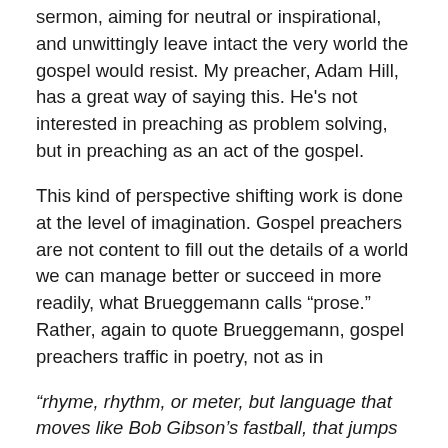sermon, aiming for neutral or inspirational, and unwittingly leave intact the very world the gospel would resist. My preacher, Adam Hill, has a great way of saying this. He's not interested in preaching as problem solving, but in preaching as an act of the gospel.
This kind of perspective shifting work is done at the level of imagination. Gospel preachers are not content to fill out the details of a world we can manage better or succeed in more readily, what Brueggemann calls “prose.” Rather, again to quote Brueggemann, gospel preachers traffic in poetry, not as in
“rhyme, rhythm, or meter, but language that moves like Bob Gibson’s fastball, that jumps at the right moment, that breaks open old worlds with surprise, abrasion, and pace… Such preaching is not moral instruction or problem solving or doctrinal clarification… It is rather, the ready